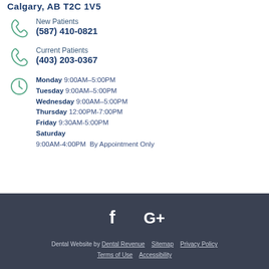Calgary, AB T2C 1V5
New Patients
(587) 410-0821
Current Patients
(403) 203-0367
Monday 9:00AM-5:00PM
Tuesday 9:00AM-5:00PM
Wednesday 9:00AM-5:00PM
Thursday 12:00PM-7:00PM
Friday 9:30AM-5:00PM
Saturday
9:00AM-4:00PM By Appointment Only
[Figure (illustration): Facebook and Google+ social media icons in white on dark background]
Dental Website by Dental Revenue   Sitemap   Privacy Policy
Terms of Use   Accessibility